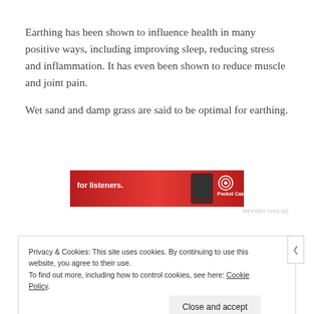Earthing has been shown to influence health in many positive ways, including improving sleep, reducing stress and inflammation. It has even been shown to reduce muscle and joint pain.
Wet sand and damp grass are said to be optimal for earthing.
[Figure (screenshot): Red advertisement banner for Pocket Casts app showing text 'for listeners.' with a smartphone image and Pocket Casts logo]
REPORT THIS AD
Privacy & Cookies: This site uses cookies. By continuing to use this website, you agree to their use.
To find out more, including how to control cookies, see here: Cookie Policy
Close and accept